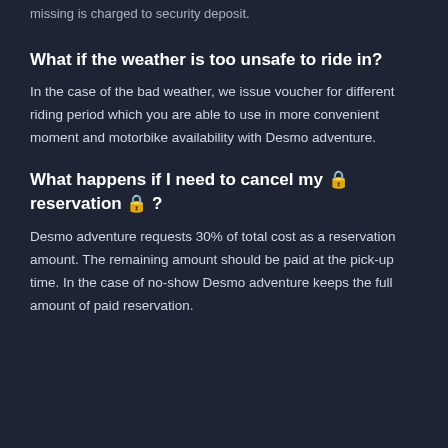missing is charged to security deposit.
What if the weather is too unsafe to ride in?
In the case of the bad weather, we issue voucher for different riding period which you are able to use in more convenient moment and motorbike availability with Desmo adventure.
What happens if I need to cancel my 🔒 reservation 🔒 ?
Desmo adventure requests 30% of total cost as a reservation amount. The remaining amount should be paid at the pick-up time. In the case of no-show Desmo adventure keeps the full amount of paid reservation.